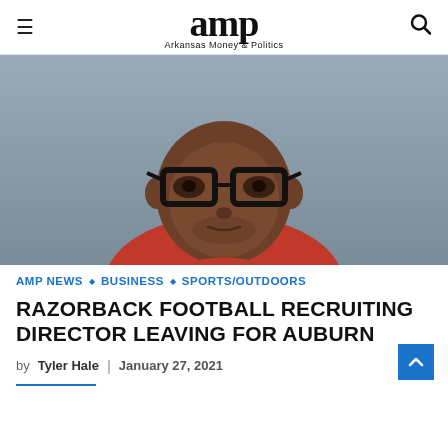amp Arkansas Money & Politics
[Figure (photo): Headshot photo of a man wearing black-rimmed glasses and a red shirt, against a grey background]
AMP NEWS ◇ BUSINESS ◇ SPORTS/OUTDOORS
RAZORBACK FOOTBALL RECRUITING DIRECTOR LEAVING FOR AUBURN
by Tyler Hale | January 27, 2021